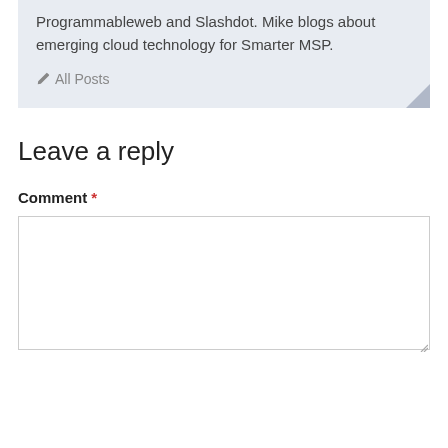Programmableweb and Slashdot. Mike blogs about emerging cloud technology for Smarter MSP.
All Posts
Leave a reply
Comment *